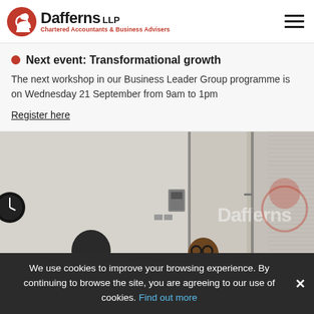[Figure (logo): Dafferns LLP Chartered Accountants & Business Advisers logo with red circular icon]
Next event: Transformational growth
The next workshop in our Business Leader Group programme is on Wednesday 21 September from 9am to 1pm
Register here
[Figure (photo): Interior photo of Dafferns office showing glass partitions with frosted Dafferns branding, a person visible, and a clock on the wall]
We use cookies to improve your browsing experience. By continuing to browse the site, you are agreeing to our use of cookies. Find out more